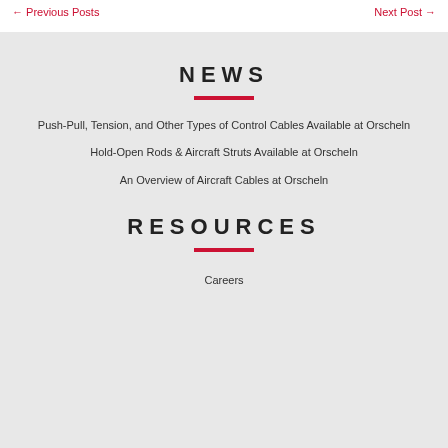← Previous Posts    Next Post →
NEWS
Push-Pull, Tension, and Other Types of Control Cables Available at Orscheln
Hold-Open Rods & Aircraft Struts Available at Orscheln
An Overview of Aircraft Cables at Orscheln
RESOURCES
Careers